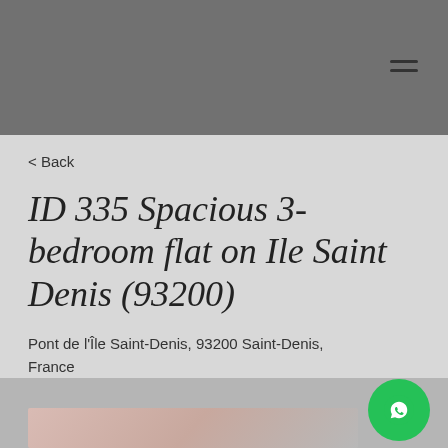< Back
ID 335 Spacious 3-bedroom flat on Ile Saint Denis (93200)
Pont de l'Île Saint-Denis, 93200 Saint-Denis, France
For Rent
Price on demande
[Figure (photo): Partial view of a room interior photo at bottom of page]